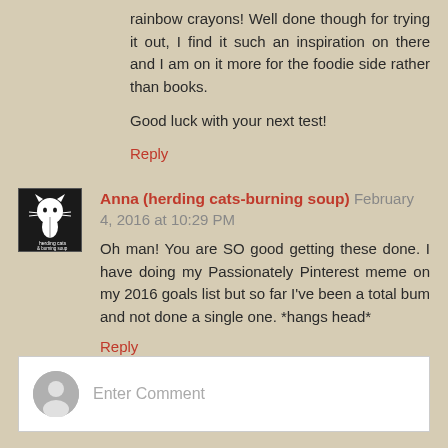rainbow crayons! Well done though for trying it out, I find it such an inspiration on there and I am on it more for the foodie side rather than books.
Good luck with your next test!
Reply
Anna (herding cats-burning soup) February 4, 2016 at 10:29 PM
Oh man! You are SO good getting these done. I have doing my Passionately Pinterest meme on my 2016 goals list but so far I've been a total bum and not done a single one. *hangs head*
Reply
Enter Comment